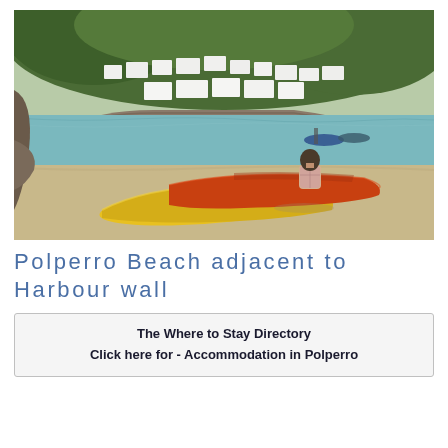[Figure (photo): A coastal harbour scene at Polperro, Cornwall. In the foreground, two kayaks (one yellow, one orange-red) are pulled up on a sandy beach. A person sits on or near the orange kayak facing the water. In the background is a tidal harbour with calm teal water, a stone harbour wall, moored boats, and white-rendered cottages climbing up a wooded hillside.]
Polperro Beach adjacent to Harbour wall
The Where to Stay Directory
Click here for - Accommodation in Polperro